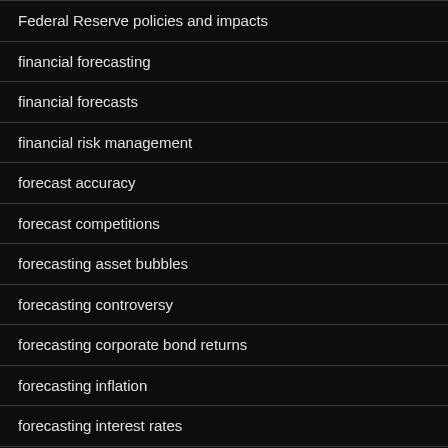Federal Reserve policies and impacts
financial forecasting
financial forecasts
financial risk management
forecast accuracy
forecast competitions
forecasting asset bubbles
forecasting controversy
forecasting corporate bond returns
forecasting inflation
forecasting interest rates
forecasting medical and healthcare costs